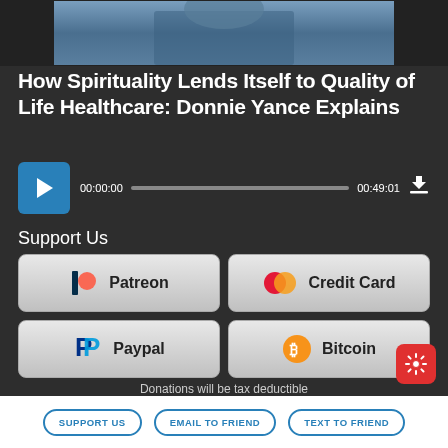[Figure (photo): Top portion of a photo of a person in blue clothing, partially cropped]
How Spirituality Lends Itself to Quality of Life Healthcare: Donnie Yance Explains
[Figure (other): Audio player with play button, time 00:00:00 / 00:49:01, progress bar, and download icon]
Support Us
[Figure (other): Donation buttons grid: Patreon, Credit Card, Paypal, Bitcoin]
Donations will be tax deductible
Subscribe, Review, Listen:
SUPPORT US | EMAIL TO FRIEND | TEXT TO FRIEND